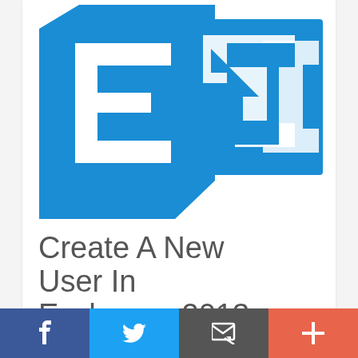[Figure (logo): Microsoft Exchange Server 2013 logo — two blue squares side by side, left square has white 'E' letter, right square has white chain-link/exchange arrows icon]
Create A New User In Exchange 2013
NOVEMBER 21, 2012  //  EXCHANGE 2013
[Figure (infographic): Social sharing bar with four buttons: Facebook (dark blue, 'f'), Twitter (light blue, bird icon), Email (dark gray, envelope with cursor icon), Plus (coral/red, '+')]